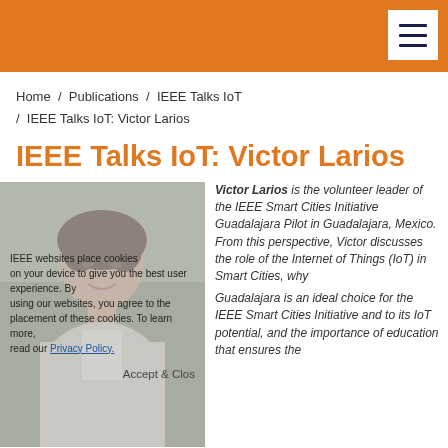Home / Publications / IEEE Talks IoT / IEEE Talks IoT: Victor Larios
IEEE Talks IoT: Victor Larios
[Figure (photo): Portrait photo of Victor Larios, a man with dark hair wearing a light jacket, with a cookie consent overlay on top]
Victor Larios is the volunteer leader of the IEEE Smart Cities Initiative Guadalajara Pilot in Guadalajara, Mexico. From this perspective, Victor discusses the role of the Internet of Things (IoT) in Smart Cities, why Guadalajara is an ideal choice for the IEEE Smart Cities Initiative and to its IoT potential, and the importance of education that ensures the